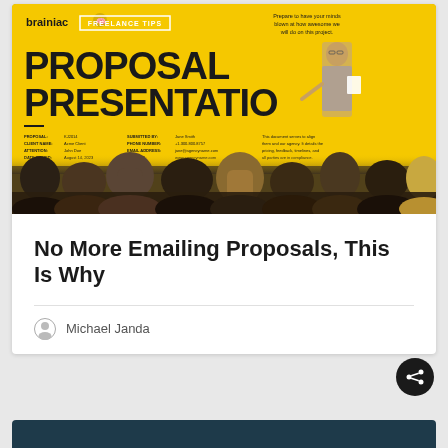[Figure (illustration): Brainiac blog article card showing a yellow proposal presentation slide cover with large bold text 'PROPOSAL PRESENTATION', a Brainiac logo, FREELANCE TIPS badge, a presenter standing in front of the slide, audience members viewed from behind, and proposal document details.]
No More Emailing Proposals, This Is Why
Michael Janda